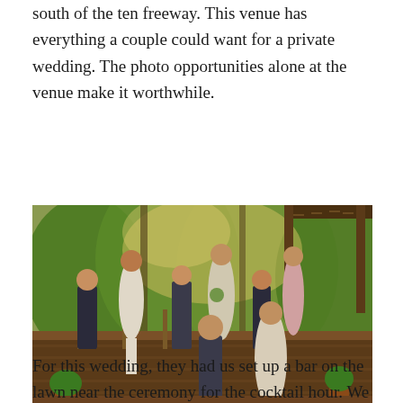south of the ten freeway. This venue has everything a couple could want for a private wedding. The photo opportunities alone at the venue make it worthwhile.
[Figure (photo): A wedding party standing on a wooden deck surrounded by lush green trees and palm trees. Several people in formal attire including men in dark suits and women in light dresses. A bald man and a woman in a light dress walk in the foreground.]
The wedding party
For this wedding, they had us set up a bar on the lawn near the ceremony for the cocktail hour. We served beer